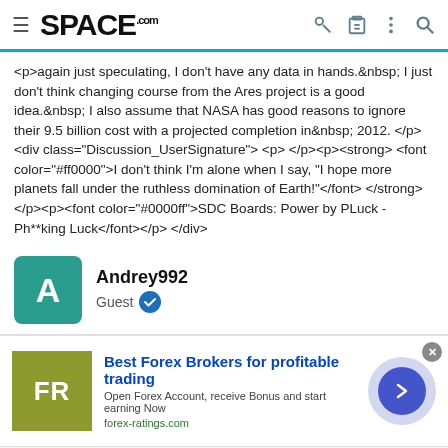SPACE.com
<p>again just speculating, I don't have any data in hands.&nbsp; I just don't think changing course from the Ares project is a good idea.&nbsp; I also assume that NASA has good reasons to ignore their 9.5 billion cost with a projected completion in&nbsp; 2012. </p> <div class="Discussion_UserSignature"> <p> </p><p><strong> <font color="#ff0000">I don't think I'm alone when I say, "I hope more planets fall under the ruthless domination of Earth!"</font> </strong></p><p><font color="#0000ff">SDC Boards: Power by PLuck - Ph**king Luck</font></p> </div>
Andrey992
Guest